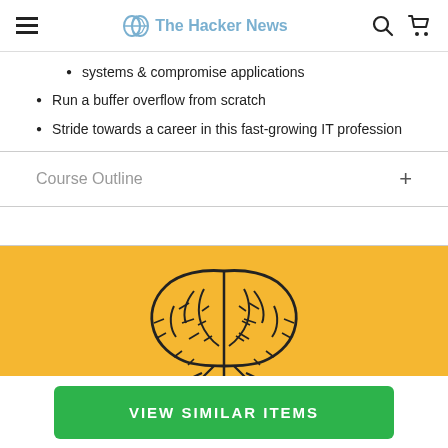The Hacker News
systems & compromise applications
Run a buffer overflow from scratch
Stride towards a career in this fast-growing IT profession
Course Outline
[Figure (illustration): Yellow background with a brain illustration made of circuit-board style lines, black outline on yellow.]
VIEW SIMILAR ITEMS